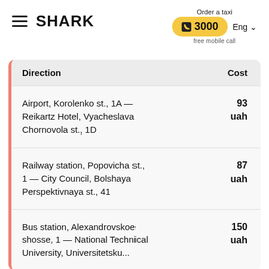[Figure (logo): SHARK taxi service logo with hamburger menu icon]
Order a taxi
3000
Eng
free mobile call
| Direction | Cost |
| --- | --- |
| Airport, Korolenko st., 1A — Reikartz Hotel, Vyacheslava Chornovola st., 1D | 93 uah |
| Railway station, Popovicha st., 1 — City Council, Bolshaya Perspektivnaya st., 41 | 87 uah |
| Bus station, Alexandrovskoe shosse, 1 — National Technical University, Universitetsku... | 150 uah |